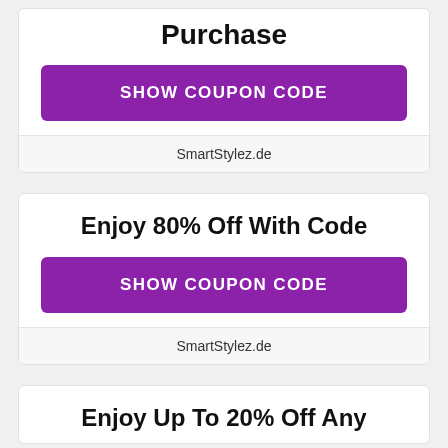Purchase
SHOW COUPON CODE
SmartStylez.de
Enjoy 80% Off With Code
SHOW COUPON CODE
SmartStylez.de
Enjoy Up To 20% Off Any